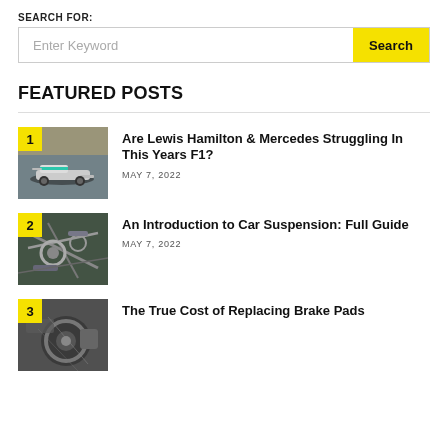SEARCH FOR:
Enter Keyword | Search
FEATURED POSTS
1 — Are Lewis Hamilton & Mercedes Struggling In This Years F1? — MAY 7, 2022
2 — An Introduction to Car Suspension: Full Guide — MAY 7, 2022
3 — The True Cost of Replacing Brake Pads